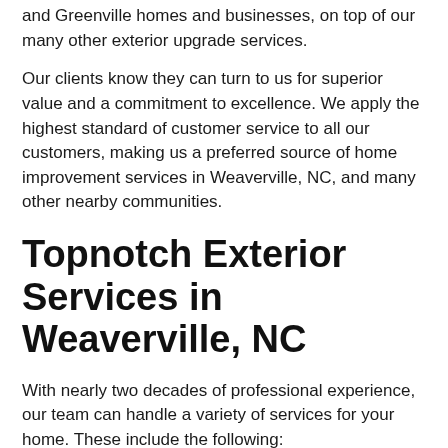and Greenville homes and businesses, on top of our many other exterior upgrade services.
Our clients know they can turn to us for superior value and a commitment to excellence. We apply the highest standard of customer service to all our customers, making us a preferred source of home improvement services in Weaverville, NC, and many other nearby communities.
Topnotch Exterior Services in Weaverville, NC
With nearly two decades of professional experience, our team can handle a variety of services for your home. These include the following: